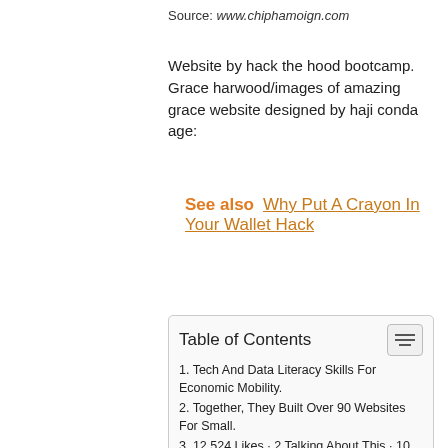Source: www.chiphamoign.com
Website by hack the hood bootcamp. Grace harwood/images of amazing grace website designed by haji conda age:
See also  Why Put A Crayon In Your Wallet Hack
| Table of Contents |
| --- |
| 1. Tech And Data Literacy Skills For Economic Mobility. |
| 2. Together, They Built Over 90 Websites For Small. |
| 3. 12,524 Likes · 2 Talking About This · 10 Were Here. |
| 4. But The Best Part Is The Friends You'll Make And The Pride And Confidence You'll Feel Once You Publish Your First Website! |